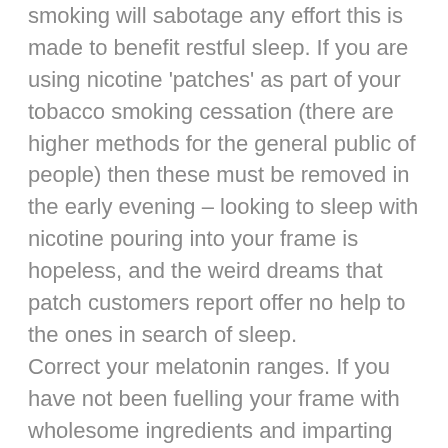smoking will sabotage any effort this is made to benefit restful sleep. If you are using nicotine 'patches' as part of your tobacco smoking cessation (there are higher methods for the general public of people) then these must be removed in the early evening – looking to sleep with nicotine pouring into your frame is hopeless, and the weird dreams that patch customers report offer no help to the ones in search of sleep. Correct your melatonin ranges. If you have not been fuelling your frame with wholesome ingredients and imparting the right vitamins and nutrients for melatonin to be evidently produced, then there may well be a case for giving your ranges a 'increase'. Make no mistake you need this hormone to sleep. When it's far dark (a darkish bed room is a 'should have' for a